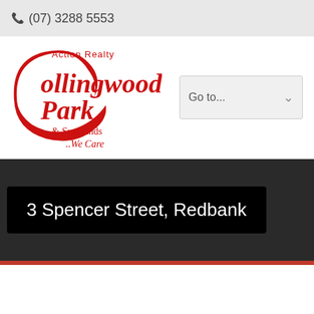(07) 3288 5553
[Figure (logo): Action Realty Collingwood Park & Surrounds ..We Care logo in red script and serif font]
Go to...
3 Spencer Street, Redbank
SOLD BY JUDY EDDY